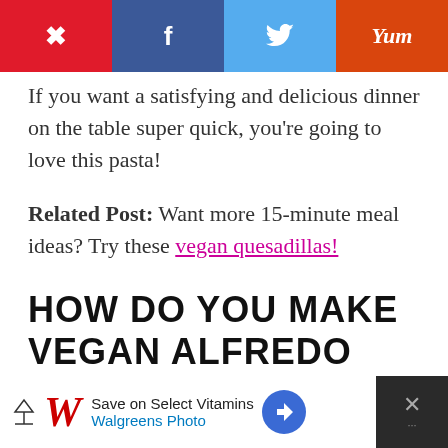[Figure (other): Social sharing bar with Pinterest (red), Facebook (dark blue), Twitter (light blue), and Yummly (orange) buttons]
If you want a satisfying and delicious dinner on the table super quick, you're going to love this pasta!
Related Post: Want more 15-minute meal ideas? Try these vegan quesadillas!
HOW DO YOU MAKE VEGAN ALFREDO
[Figure (other): Walgreens advertisement banner: Save on Select Vitamins - Walgreens Photo]